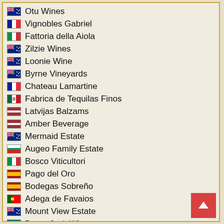Otu Wines
Vignobles Gabriel
Fattoria della Aiola
Zilzie Wines
Loonie Wine
Byrne Vineyards
Chateau Lamartine
Fabrica de Tequilas Finos
Latvijas Balzams
Amber Beverage
Mermaid Estate
Augeo Family Estate
Bosco Viticultori
Pago del Oro
Bodegas Sobreño
Adega de Favaios
Mount View Estate
Bruce Jack Wines
Cafe8coffee
Arm's Length Wine